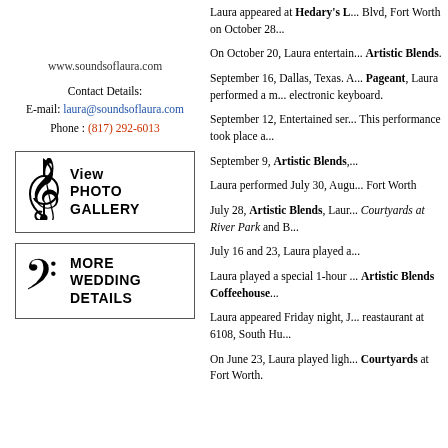www.soundsoflaura.com
Contact Details:
E-mail: laura@soundsoflaura.com
Phone : (817) 292-6013
[Figure (illustration): Box with treble clef icon and text 'View PHOTO GALLERY']
[Figure (illustration): Box with bass clef icon and text 'MORE WEDDING DETAILS']
Laura appeared at Hedary's L... Blvd, Fort Worth on October 28...
On October 20, Laura entertain... Artistic Blends.
September 16, Dallas, Texas. A... Pageant, Laura performed a m... electronic keyboard.
September 12, Entertained ser... This performance took place a...
September 9, Artistic Blends,...
Laura performed July 30, Augu... Fort Worth
July 28, Artistic Blends, Laur... Courtyards at River Park and B...
July 16 and 23, Laura played a...
Laura played a special 1-hour ... Artistic Blends Coffeehouse...
Laura appeared Friday night, J... reastaurant at 6108, South Hu...
On June 23, Laura played ligh... Courtyards at Fort Worth.